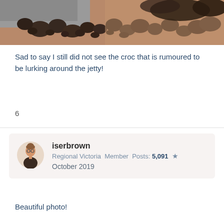[Figure (photo): Cropped photo showing dark rocks and reddish-brown sandy/earthy ground, partial view of a coastal or jetty area]
Sad to say I still did not see the croc that is rumoured to be lurking around the jetty!
6
iserbrown
Regional Victoria  Member  Posts: 5,091  ★
October 2019
Beautiful photo!